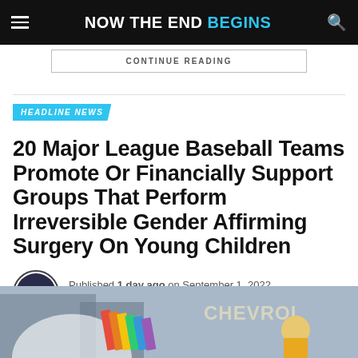NOW THE END BEGINS
CONTINUE READING
HEADLINE NEWS
20 Major League Baseball Teams Promote Or Financially Support Groups That Perform Irreversible Gender Affirming Surgery On Young Children
Published 1 day ago on September 1, 2022
By Geoffrey Grider
[Figure (photo): Photo showing a rainbow flag being held at an outdoor event with a Chevrolet sign visible in the background]